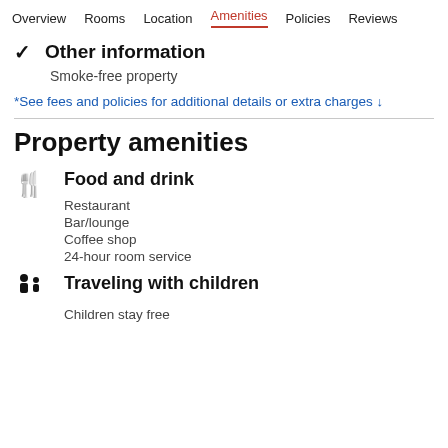Overview  Rooms  Location  Amenities  Policies  Reviews
Other information
Smoke-free property
*See fees and policies for additional details or extra charges ↓
Property amenities
Food and drink
Restaurant
Bar/lounge
Coffee shop
24-hour room service
Traveling with children
Children stay free